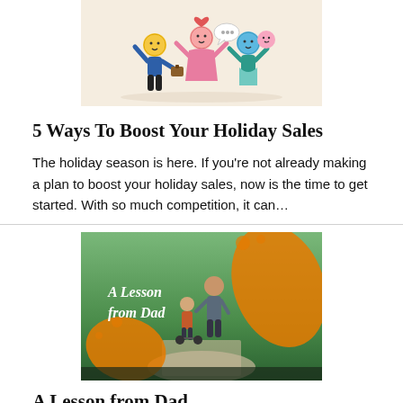[Figure (illustration): Cartoon illustration of three celebrating figures on a beige/cream background, with emoji-like faces and raised arms, holding a briefcase. Depicted against a warm beige background.]
5 Ways To Boost Your Holiday Sales
The holiday season is here. If you're not already making a plan to boost your holiday sales, now is the time to get started. With so much competition, it can…
[Figure (photo): Photo of father and child on a path with orange splatter design overlay. White cursive text reads 'A Lesson from Dad'.]
A Lesson from Dad
Every dad has his own special way of teaching his child, but the real lesson is always the love he shows which lives on in our hearts. Sometimes he doesn't…